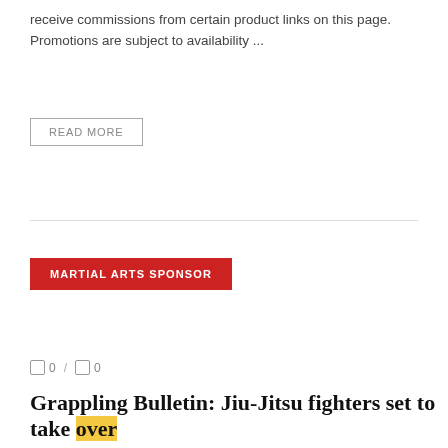receive commissions from certain product links on this page. Promotions are subject to availability ...
READ MORE
MARTIAL ARTS SPONSOR
0 / 0
Grappling Bulletin: Jiu-Jitsu fighters set to take over